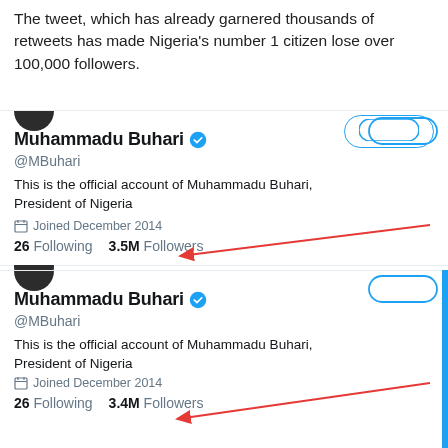The tweet, which has already garnered thousands of retweets has made Nigeria's number 1 citizen lose over 100,000 followers.
[Figure (screenshot): Twitter profile screenshot of Muhammadu Buhari (@MBuhari) showing 3.5M followers with a red arrow pointing to the follower count]
[Figure (screenshot): Twitter profile screenshot of Muhammadu Buhari (@MBuhari) showing 3.4M followers with a red arrow pointing to the follower count]